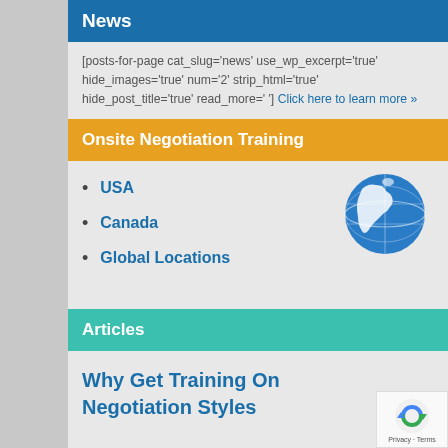News
[posts-for-page cat_slug='news' use_wp_excerpt='true' hide_images='true' num='2' strip_html='true' hide_post_title='true' read_more=' '] Click here to learn more »
Onsite Negotiation Training
USA
Canada
Global Locations
[Figure (illustration): Globe icon showing North America, blue and white]
Articles
Why Get Training On Negotiation Styles